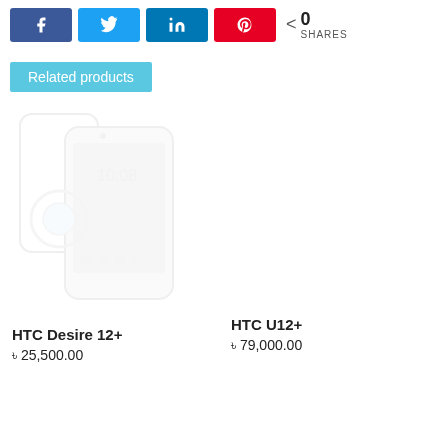[Figure (infographic): Social share buttons: Facebook, Twitter, LinkedIn, Pinterest, and a share count showing 0 SHARES]
Related products
[Figure (photo): HTC Desire 12+ smartphone product image, very light/faded]
HTC Desire 12+
৳ 25,500.00
HTC U12+
৳ 79,000.00